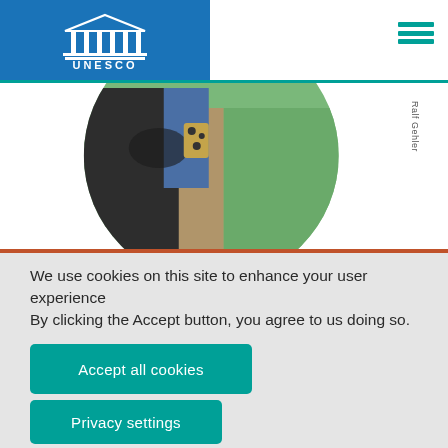[Figure (logo): UNESCO logo - white temple/columns icon with UNESCO text on blue background]
[Figure (photo): Circular cropped photo showing people walking on a path with grass, credit: Ralf Gehler]
We use cookies on this site to enhance your user experience
By clicking the Accept button, you agree to us doing so.
Accept all cookies
Privacy settings